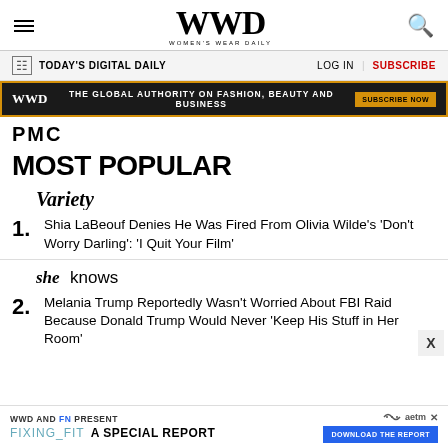WWD — WOMEN'S WEAR DAILY
TODAY'S DIGITAL DAILY   LOG IN   SUBSCRIBE
WWD THE GLOBAL AUTHORITY ON FASHION, BEAUTY AND BUSINESS SUBSCRIBE NOW
[Figure (logo): PMC logo]
MOST POPULAR
[Figure (logo): Variety logo]
1. Shia LaBeouf Denies He Was Fired From Olivia Wilde's 'Don't Worry Darling': 'I Quit Your Film'
[Figure (logo): SheKnows logo]
2. Melania Trump Reportedly Wasn't Worried About FBI Raid Because Donald Trump Would Never 'Keep His Stuff in Her Room'
WWD AND FN PRESENT FIXING_FIT A SPECIAL REPORT DOWNLOAD THE REPORT